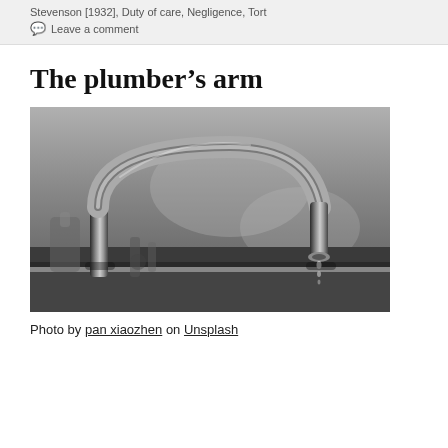Stevenson [1932], Duty of care, Negligence, Tort
💬 Leave a comment
The plumber’s arm
[Figure (photo): Black and white close-up photograph of a chrome water faucet/tap dripping water, with plumbing fixtures in the background.]
Photo by pan xiaozhen on Unsplash